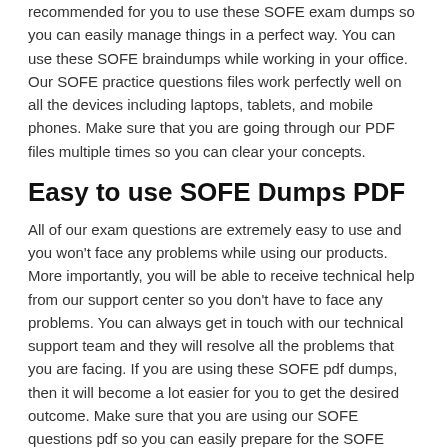recommended for you to use these SOFE exam dumps so you can easily manage things in a perfect way. You can use these SOFE braindumps while working in your office. Our SOFE practice questions files work perfectly well on all the devices including laptops, tablets, and mobile phones. Make sure that you are going through our PDF files multiple times so you can clear your concepts.
Easy to use SOFE Dumps PDF
All of our exam questions are extremely easy to use and you won't face any problems while using our products. More importantly, you will be able to receive technical help from our support center so you don't have to face any problems. You can always get in touch with our technical support team and they will resolve all the problems that you are facing. If you are using these SOFE pdf dumps, then it will become a lot easier for you to get the desired outcome. Make sure that you are using our SOFE questions pdf so you can easily prepare for the SOFE certification exams.
Self-Assessment Features